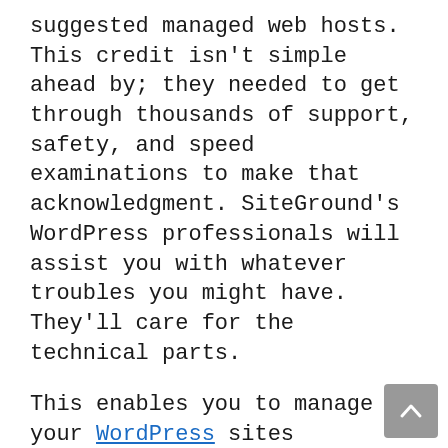suggested managed web hosts. This credit isn't simple ahead by; they needed to get through thousands of support, safety, and speed examinations to make that acknowledgment. SiteGround's WordPress professionals will assist you with whatever troubles you might have. They'll care for the technical parts.
This enables you to manage your WordPress sites utilizing the command punctual. Website upgrades can be carried out, back-ups can be run, brand-new messages can be published and most regular administrative activities can be performed with just a collection of commands. Sectioned website updates can appear unprofessional. The capacity to entirely upgrade the entire site